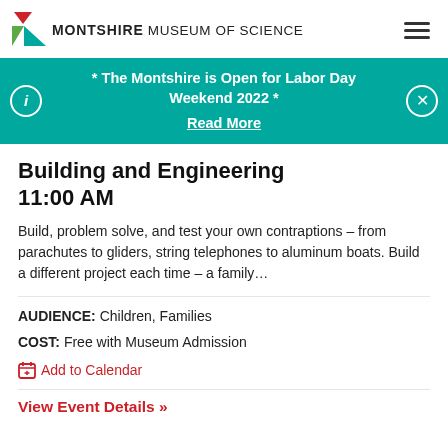MONTSHIRE MUSEUM OF SCIENCE
* The Montshire is Open for Labor Day Weekend 2022 * Read More
Building and Engineering
11:00 AM
Build, problem solve, and test your own contraptions – from parachutes to gliders, string telephones to aluminum boats. Build a different project each time – a family…
AUDIENCE: Children, Families
COST: Free with Museum Admission
Add to Calendar
View Event Details »